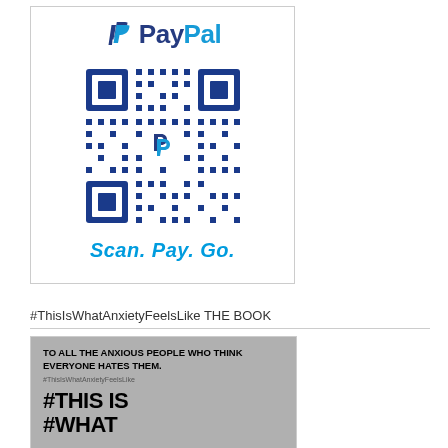[Figure (logo): PayPal advertisement card with PayPal logo at top, a QR code with PayPal P logo in center, and the text 'Scan. Pay. Go.' at the bottom]
#ThisIsWhatAnxietyFeelsLike THE BOOK
[Figure (photo): Book advertisement on grey background. Text reads 'TO ALL THE ANXIOUS PEOPLE WHO THINK EVERYONE HATES THEM. #ThisIsWhatAnxietyFeelsLike' followed by large bold text '#THIS IS #WHAT' with a book visible at bottom right]